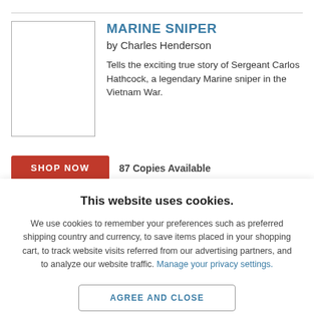[Figure (illustration): Book cover placeholder (white rectangle with border) for Marine Sniper]
MARINE SNIPER
by Charles Henderson
Tells the exciting true story of Sergeant Carlos Hathcock, a legendary Marine sniper in the Vietnam War.
SHOP NOW | 87 Copies Available
This website uses cookies.
We use cookies to remember your preferences such as preferred shipping country and currency, to save items placed in your shopping cart, to track website visits referred from our advertising partners, and to analyze our website traffic. Manage your privacy settings.
AGREE AND CLOSE